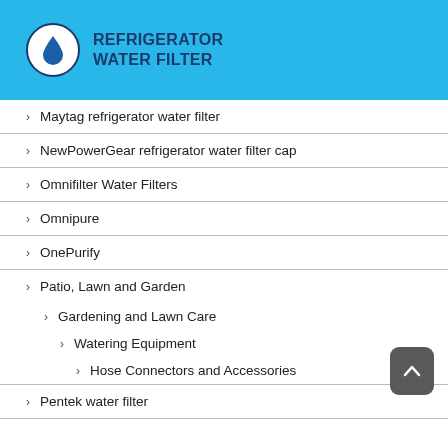REFRIGERATOR WATER FILTER
Maytag refrigerator water filter
NewPowerGear refrigerator water filter cap
Omnifilter Water Filters
Omnipure
OnePurify
Patio, Lawn and Garden
Gardening and Lawn Care
Watering Equipment
Hose Connectors and Accessories
Pentek water filter